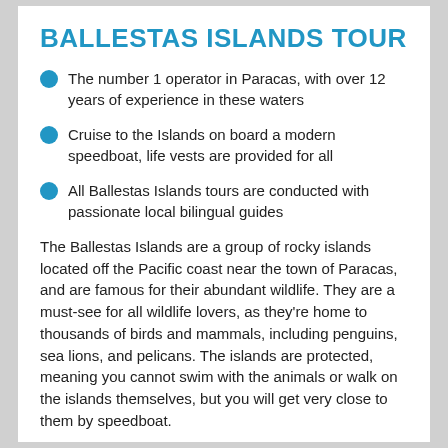BALLESTAS ISLANDS TOUR
The number 1 operator in Paracas, with over 12 years of experience in these waters
Cruise to the Islands on board a modern speedboat, life vests are provided for all
All Ballestas Islands tours are conducted with passionate local bilingual guides
The Ballestas Islands are a group of rocky islands located off the Pacific coast near the town of Paracas, and are famous for their abundant wildlife. They are a must-see for all wildlife lovers, as they're home to thousands of birds and mammals, including penguins, sea lions, and pelicans. The islands are protected, meaning you cannot swim with the animals or walk on the islands themselves, but you will get very close to them by speedboat.